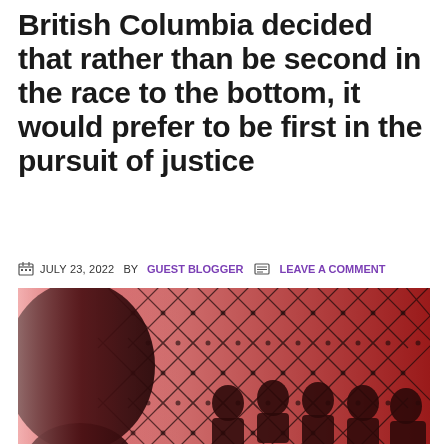British Columbia decided that rather than be second in the race to the bottom, it would prefer to be first in the pursuit of justice
JULY 23, 2022 BY GUEST BLOGGER   LEAVE A COMMENT
[Figure (photo): Red-tinted photograph showing silhouettes of people sitting behind a chain-link fence, with a large dark silhouette of a person's head in the foreground on the left side.]